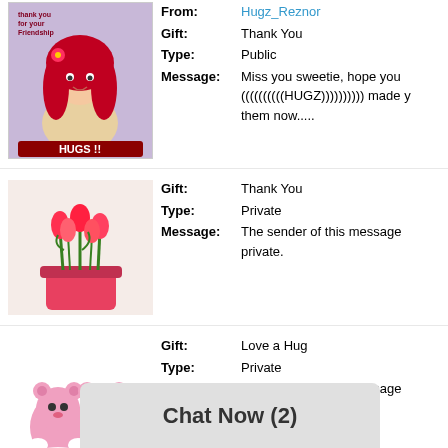[Figure (illustration): Anime-style girl with red hair holding flowers, text 'thank you for your friendship' and 'HUGS!!']
From: Hugz_Reznor
Gift: Thank You
Type: Public
Message: Miss you sweetie, hope you ((((((((((HUGZ)))))))))) made y them now.....
[Figure (photo): Red tulips in a pink box]
Gift: Thank You
Type: Private
Message: The sender of this message private.
[Figure (photo): Pink teddy bear toys hugging]
Gift: Love a Hug
Type: Private
Message: The sender of this message private.
[Figure (photo): Pink rose on piano keys]
Gift: for You
Type: Private
Message: The sender of this message private.
[Figure (photo): Hugs image, partially visible]
Gift: tulips
Chat Now (2)